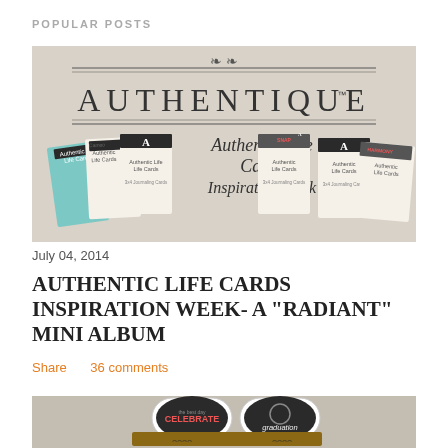POPULAR POSTS
[Figure (photo): Authentique brand banner image showing 'Authentic Life Cards Inspiration Week' with card products displayed on a beige/tan background]
July 04, 2014
AUTHENTIC LIFE CARDS INSPIRATION WEEK- A "RADIANT" MINI ALBUM
Share    36 comments
[Figure (photo): Partial image of a handmade graduation mini album/scrapbook showing black and white decorative elements with 'CELEBRATE' and 'graduation' text]